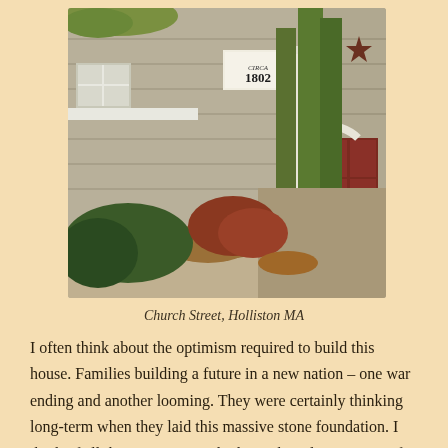[Figure (photo): Exterior photograph of a historic New England home on Church Street, Holliston MA. The house has tan/grey siding with white trim. A sign reading 'CIRCA 1802' is visible near the entrance. Tall green arborvitae trees line the center. To the right is a red barn-style garage door with a decorative metal star. A gravel driveway and autumn foliage are visible.]
Church Street, Holliston MA
I often think about the optimism required to build this house. Families building a future in a new nation – one war ending and another looming. They were certainly thinking long-term when they laid this massive stone foundation. I think of all the generations who have shored it up since. If they were around to look in the